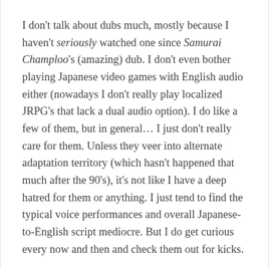I don't talk about dubs much, mostly because I haven't seriously watched one since Samurai Champloo's (amazing) dub. I don't even bother playing Japanese video games with English audio either (nowadays I don't really play localized JRPG's that lack a dual audio option). I do like a few of them, but in general… I just don't really care for them. Unless they veer into alternate adaptation territory (which hasn't happened that much after the 90's), it's not like I have a deep hatred for them or anything. I just tend to find the typical voice performances and overall Japanese-to-English script mediocre. But I do get curious every now and then and check them out for kicks.